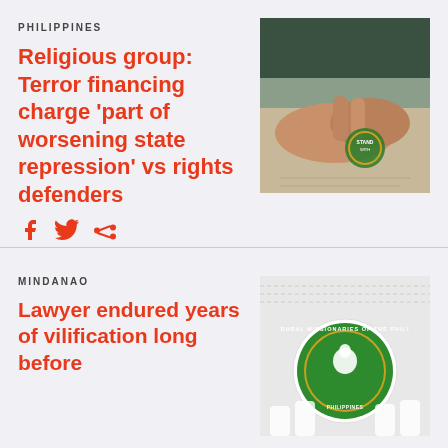PHILIPPINES
Religious group: Terror financing charge ‘part of worsening state repression’ vs rights defenders
[Figure (photo): Close-up photo of hands holding or touching something with a green badge/stamp visible]
[Figure (other): Social media share icons: Facebook, Twitter, Share]
MINDANAO
Lawyer endured years of vilification long before
[Figure (logo): Rural Missionaries of the Philippines circular logo/seal on a light background]